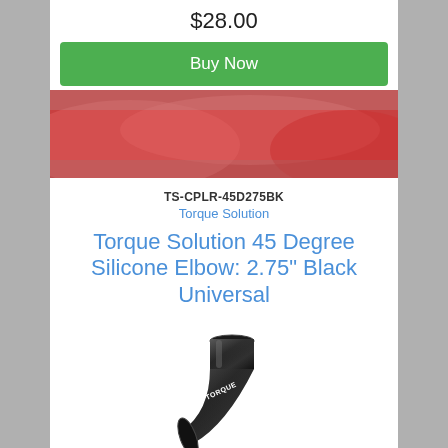$28.00
Buy Now
[Figure (photo): Red/pink car partially visible in background banner]
TS-CPLR-45D275BK
Torque Solution
Torque Solution 45 Degree Silicone Elbow: 2.75" Black Universal
[Figure (photo): Black silicone 45-degree elbow hose coupler with TORQUE branding label, photographed on white background]